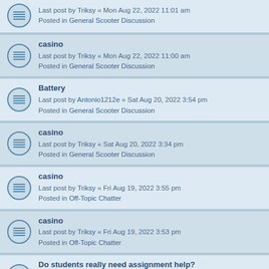Last post by Triksy « Mon Aug 22, 2022 11:01 am
Posted in General Scooter Discussion
casino
Last post by Triksy « Mon Aug 22, 2022 11:00 am
Posted in General Scooter Discussion
Battery
Last post by Antonio1212e « Sat Aug 20, 2022 3:54 pm
Posted in General Scooter Discussion
casino
Last post by Triksy « Sat Aug 20, 2022 3:34 pm
Posted in General Scooter Discussion
casino
Last post by Triksy « Fri Aug 19, 2022 3:55 pm
Posted in Off-Topic Chatter
casino
Last post by Triksy « Fri Aug 19, 2022 3:53 pm
Posted in Off-Topic Chatter
Do students really need assignment help?
Last post by davidway195 « Wed Aug 17, 2022 1:33 am
Posted in General Scooter Discussion
My Honest Review - Learn The Secrets To Writing
Last post by jamiwalker « Tue Aug 16, 2022 7:23 am
Posted in General Scooter Discussion
How to Know if you have enough air in your tires?
Last post by johnmullerab « Tue Aug 16, 2022 7:02 am
Posted in Off-Topic Chatter